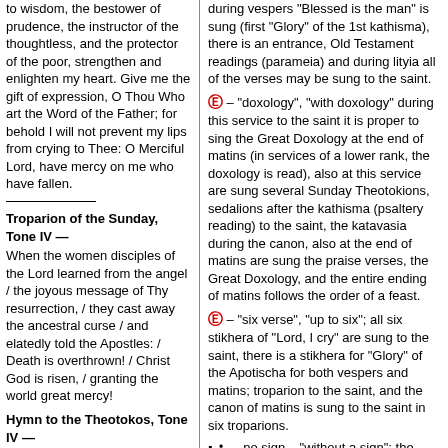to wisdom, the bestower of prudence, the instructor of the thoughtless, and the protector of the poor, strengthen and enlighten my heart. Give me the gift of expression, O Thou Who art the Word of the Father; for behold I will not prevent my lips from crying to Thee: O Merciful Lord, have mercy on me who have fallen.
Troparion of the Sunday, Tone IV —
When the women disciples of the Lord learned from the angel / the joyous message of Thy resurrection, / they cast away the ancestral curse / and elatedly told the Apostles: / Death is overthrown! / Christ God is risen, / granting the world great mercy!
Hymn to the Theotokos, Tone IV —
The mystery of all eternity, / unknown even by angels, /
during vespers "Blessed is the man" is sung (first "Glory" of the 1st kathisma), there is an entrance, Old Testament readings (parameia) and during lityia all of the verses may be sung to the saint.
– "doxology", "with doxology" during this service to the saint it is proper to sing the Great Doxology at the end of matins (in services of a lower rank, the doxology is read), also at this service are sung several Sunday Theotokions, sedalions after the kathisma (psaltery reading) to the saint, the katavasia during the canon, also at the end of matins are sung the praise verses, the Great Doxology, and the entire ending of matins follows the order of a feast.
– "six verse", "up to six"; all six stikhera of "Lord, I cry" are sung to the saint, there is a stikhera for "Glory" of the Apotischa for both vespers and matins; troparion to the saint, and the canon of matins is sung to the saint in six troparions.
, • , no sign – "without a sign"; the most ordinary, daily service to a saint, to whom it is customary to sing only three stikhera at "Lord I cry" and the canon of matins in four troparions. There may not be a troparion to the saint.